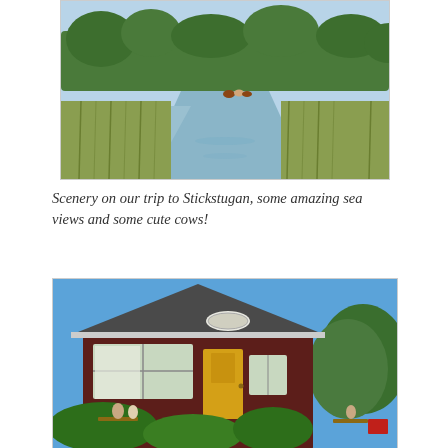[Figure (photo): Scenic landscape photo showing a calm water channel or river bordered by green reeds and marshland, with trees in the background and what appear to be cows in the distance under a blue sky.]
Scenery on our trip to Stickstugan, some amazing sea views and some cute cows!
[Figure (photo): Photo of a traditional Swedish-style wooden cottage or cafe building with dark red/brown vertical board siding, a gabled roof, large windows, a yellow door, and outdoor seating where people are sitting. Surrounded by green bushes and trees under a clear blue sky.]